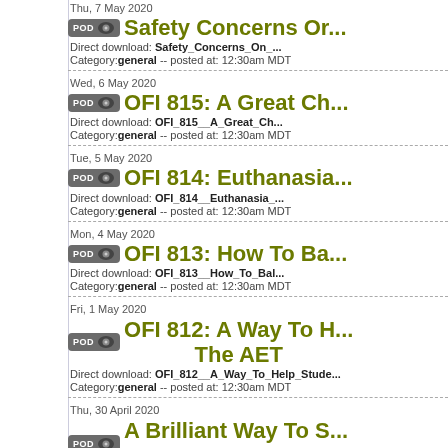Thu, 7 May 2020 | Safety Concerns Or... | Direct download: Safety_Concerns_On_... | Category: general -- posted at: 12:30am MDT
Wed, 6 May 2020 | OFI 815: A Great Ch... | Direct download: OFI_815__A_Great_Ch... | Category: general -- posted at: 12:30am MDT
Tue, 5 May 2020 | OFI 814: Euthanasia... | Direct download: OFI_814__Euthanasia_... | Category: general -- posted at: 12:30am MDT
Mon, 4 May 2020 | OFI 813: How To Ba... | Direct download: OFI_813__How_To_Bal... | Category: general -- posted at: 12:30am MDT
Fri, 1 May 2020 | OFI 812: A Way To H... The AET | Direct download: OFI_812__A_Way_To_Help_Stude... | Category: general -- posted at: 12:30am MDT
Thu, 30 April 2020 | A Brilliant Way To S... Morrisville